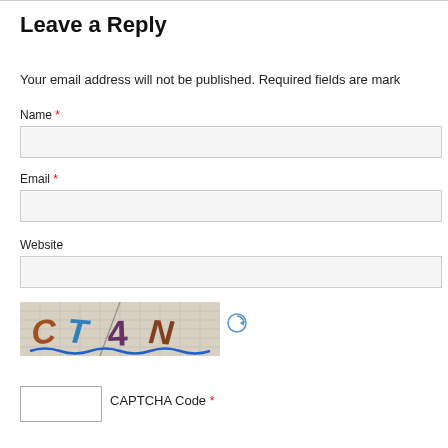Leave a Reply
Your email address will not be published. Required fields are mark
Name *
Email *
Website
[Figure (other): CAPTCHA image showing distorted text 'CT4N' on a grid background with blue wavy underline, and a refresh icon to the right]
CAPTCHA Code *